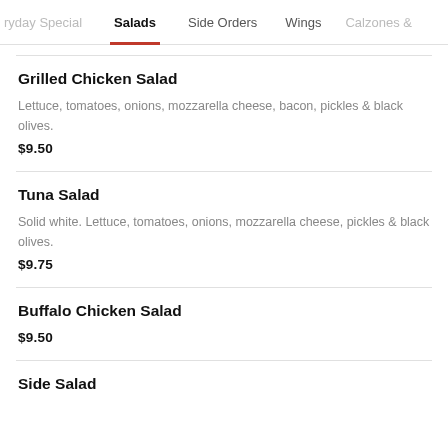ryday Special | Salads | Side Orders | Wings | Calzones &
Grilled Chicken Salad
Lettuce, tomatoes, onions, mozzarella cheese, bacon, pickles & black olives.
$9.50
Tuna Salad
Solid white. Lettuce, tomatoes, onions, mozzarella cheese, pickles & black olives.
$9.75
Buffalo Chicken Salad
$9.50
Side Salad